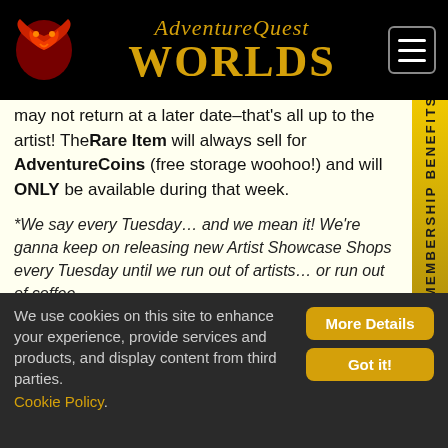[Figure (logo): AdventureQuest Worlds logo with dragon icon and hamburger menu button on black header bar]
may not return at a later date–that's all up to the artist! TheRare Item will always sell for AdventureCoins (free storage woohoo!) and will ONLY be available during that week.
*We say every Tuesday… and we mean it! We're ganna keep on releasing new Artist Showcase Shops every Tuesday until we run out of artists… or run out of coffee.
DragonClaw Armor Set leaves Thursday
All good things must come to an end. Including the
MEMBERSHIP BENEFITS
We use cookies on this site to enhance your experience, provide services and products, and display content from third parties. Cookie Policy.